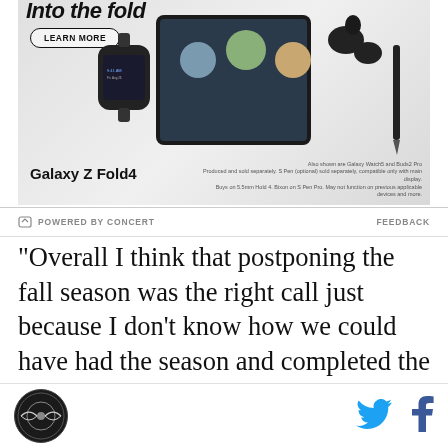[Figure (photo): Samsung Galaxy Z Fold4 advertisement banner showing the foldable phone with video call on screen, a Galaxy Watch, earbuds, and stylus. Includes a 'Learn More' button and the Samsung Galaxy Z Fold4 branding.]
POWERED BY CONCERT    FEEDBACK
“Overall I think that postponing the fall season was the right call just because I don’t know how we could have had the season and completed the season while keeping everyone safe,” Shklyar said. “It would have been really hard because if one person gets sick everyone has to quarantine for two weeks and then you would lose those two weeks of practice and potential games and the season was already cut so
[Figure (logo): Circular site logo at bottom left]
[Figure (other): Twitter bird icon (social share)]
[Figure (other): Facebook f icon (social share)]